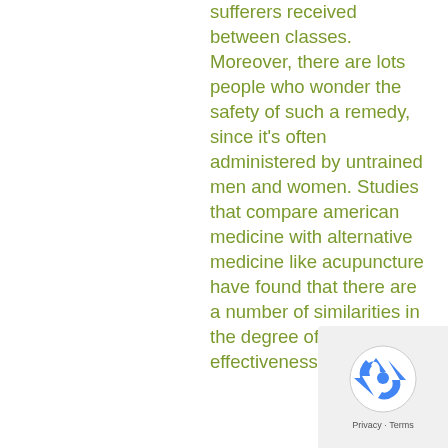sufferers received between classes. Moreover, there are lots people who wonder the safety of such a remedy, since it's often administered by untrained men and women. Studies that compare american medicine with alternative medicine like acupuncture have found that there are a number of similarities in the degree of safety and effectiveness.
[Figure (other): reCAPTCHA widget showing recycling-arrow logo with 'Privacy - Terms' footer text]